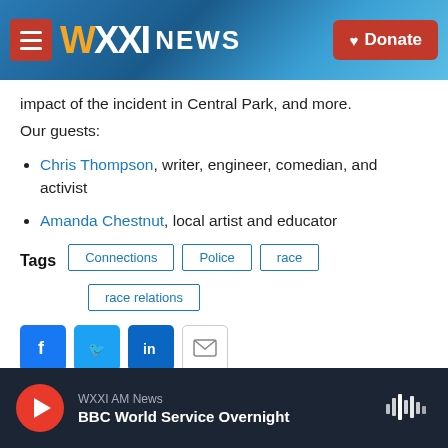WXXI NEWS — Donate
impact of the incident in Central Park, and more.
Our guests:
Chris Thompson, writer, engineer, comedian, and activist
Amanda Chestnut, local artist and educator
Tags: Connections | Police | race | race relations
[Figure (other): Social share buttons: Facebook, Twitter, LinkedIn, Email]
WXXI AM News — BBC World Service Overnight